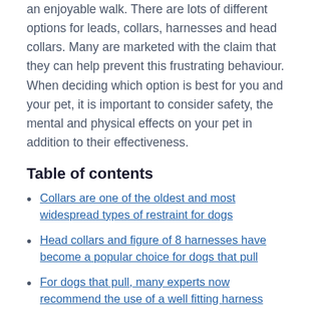an enjoyable walk. There are lots of different options for leads, collars, harnesses and head collars. Many are marketed with the claim that they can help prevent this frustrating behaviour. When deciding which option is best for you and your pet, it is important to consider safety, the mental and physical effects on your pet in addition to their effectiveness.
Table of contents
Collars are one of the oldest and most widespread types of restraint for dogs
Head collars and figure of 8 harnesses have become a popular choice for dogs that pull
For dogs that pull, many experts now recommend the use of a well fitting harness
For most of these devices a lead is also required and the choice of lead is important